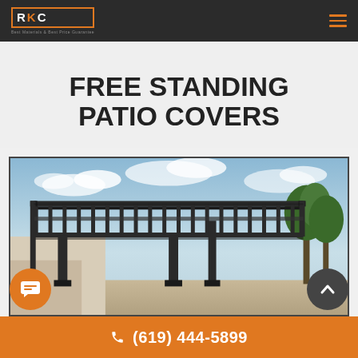AKC CONSTRUCTION - Best Materials & Best Price Guarantee
FREE STANDING PATIO COVERS
[Figure (photo): Photo of a dark metal free standing patio cover / pergola structure against a blue sky with trees in the background]
(619) 444-5899